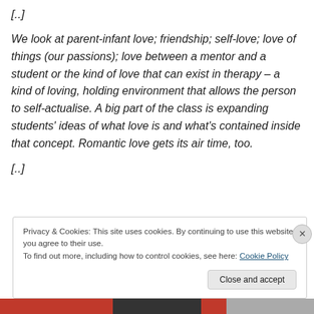[..]
We look at parent-infant love; friendship; self-love; love of things (our passions); love between a mentor and a student or the kind of love that can exist in therapy – a kind of loving, holding environment that allows the person to self-actualise. A big part of the class is expanding students' ideas of what love is and what's contained inside that concept. Romantic love gets its air time, too.
[..]
Privacy & Cookies: This site uses cookies. By continuing to use this website, you agree to their use.
To find out more, including how to control cookies, see here: Cookie Policy